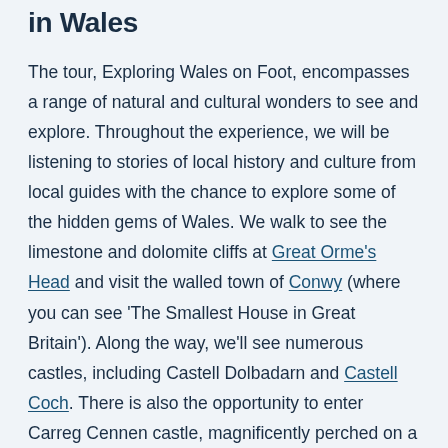in Wales
The tour, Exploring Wales on Foot, encompasses a range of natural and cultural wonders to see and explore. Throughout the experience, we will be listening to stories of local history and culture from local guides with the chance to explore some of the hidden gems of Wales. We walk to see the limestone and dolomite cliffs at Great Orme's Head and visit the walled town of Conwy (where you can see 'The Smallest House in Great Britain'). Along the way, we'll see numerous castles, including Castell Dolbadarn and Castell Coch. There is also the opportunity to enter Carreg Cennen castle, magnificently perched on a limestone outcrop. During this small group walking tour our guides share lessons about the history, landscapes and people of Wales. Our departure point